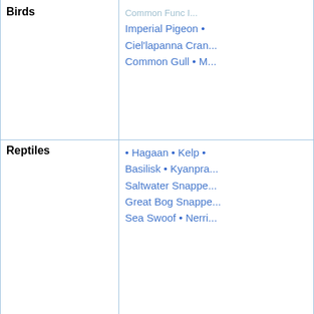| Category | Examples |
| --- | --- |
| Birds | Imperial Pigeon • Ciel'lapanna Cran... • Common Gull • M... |
| Reptiles | • Hagaan • Kelp • ... Basilisk • Kyanpra... Saltwater Snappe... Great Bog Snappe... Sea Swoof • Nerri... |
| Amphibians | • Salas'maïdar • E... Reptile • Phalarkis... |
| Fish | • Barnacle Trout • ... Cracker • Whale C... Crusty Rock Cora... Mewnes • Verdme... |
| Arthropods | • Bugutza • Saruh... Grand Papillon • F... Torat-Nekh • Ant ... Beetle • Fârakpu... |